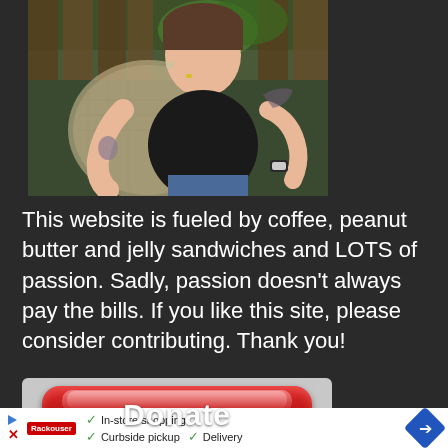[Figure (photo): Photo of a woman with tattoos sitting in a wicker chair outdoors, resting her chin on her hand, wearing a black t-shirt and jeans with a watch.]
This website is fueled by coffee, peanut butter and jelly sandwiches and LOTS of passion. Sadly, passion doesn't always pay the bills. If you like this site, please consider contributing. Thank you!
[Figure (other): Red rounded donate button with white text reading 'Donate', styled as a glossy red pill-shaped button.]
In-store shopping  Curbside pickup  Delivery